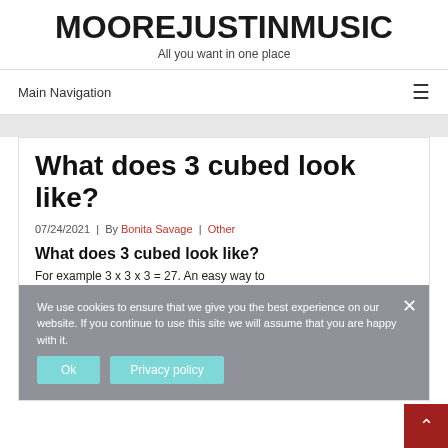MOOREJUSTINMUSIC
All you want in one place
Main Navigation
What does 3 cubed look like?
07/24/2021  |  By Bonita Savage  |  Other
What does 3 cubed look like?
For example 3 x 3 x 3 = 27. An easy way to
We use cookies to ensure that we give you the best experience on our website. If you continue to use this site we will assume that you are happy with it.